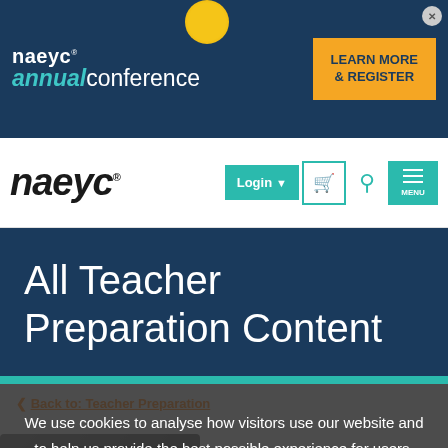[Figure (screenshot): NAEYC Annual Conference banner with dark navy background, teal and white logo on left, gold circular decoration at top center, and orange 'LEARN MORE & REGISTER' button on right with close X button]
[Figure (screenshot): NAEYC website navigation bar with black italic NAEYC logo on left, and teal Login button, shopping cart icon, search icon, and MENU button on right]
All Teacher Preparation Content
< Back to: Teacher Preparation
We use cookies to analyse how visitors use our website and to help us provide the best possible experience for users. Click Accept below if you agree to allow cookies